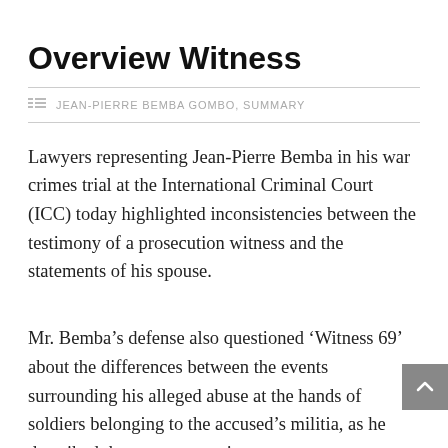Overview Witness
JEAN-PIERRE BEMBA GOMBO, SUMMARY
Lawyers representing Jean-Pierre Bemba in his war crimes trial at the International Criminal Court (ICC) today highlighted inconsistencies between the testimony of a prosecution witness and the statements of his spouse.
Mr. Bemba’s defense also questioned ‘Witness 69’ about the differences between the events surrounding his alleged abuse at the hands of soldiers belonging to the accused’s militia, as he described them to prosecution